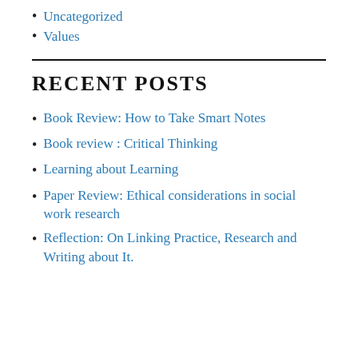Uncategorized
Values
RECENT POSTS
Book Review: How to Take Smart Notes
Book review : Critical Thinking
Learning about Learning
Paper Review: Ethical considerations in social work research
Reflection: On Linking Practice, Research and Writing about It.